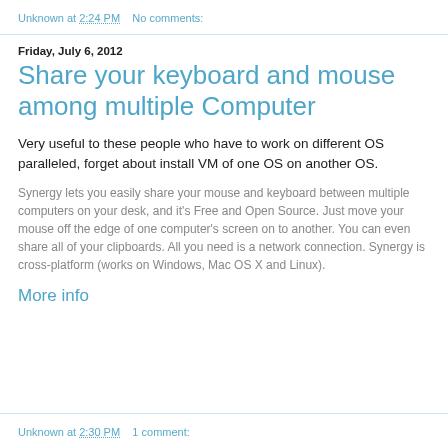Unknown at 2:24 PM   No comments:
Friday, July 6, 2012
Share your keyboard and mouse among multiple Computer
Very useful to these people who have to work on different OS paralleled, forget about install VM of one OS on another OS.
Synergy lets you easily share your mouse and keyboard between multiple computers on your desk, and it's Free and Open Source. Just move your mouse off the edge of one computer's screen on to another. You can even share all of your clipboards. All you need is a network connection. Synergy is cross-platform (works on Windows, Mac OS X and Linux).
More info
Unknown at 2:30 PM   1 comment: